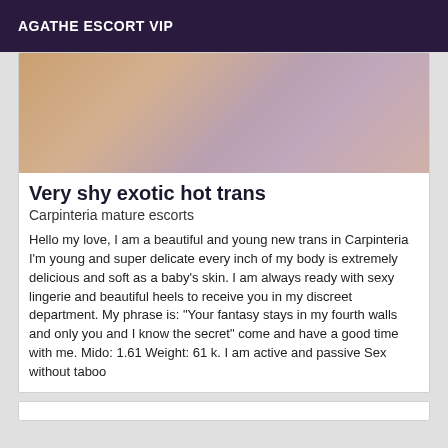AGATHE ESCORT VIP
[Figure (photo): Close-up photo showing skin tones with purple/lavender fabric]
Very shy exotic hot trans
Carpinteria mature escorts
Hello my love, I am a beautiful and young new trans in Carpinteria I'm young and super delicate every inch of my body is extremely delicious and soft as a baby's skin. I am always ready with sexy lingerie and beautiful heels to receive you in my discreet department. My phrase is: "Your fantasy stays in my fourth walls and only you and I know the secret" come and have a good time with me. Mido: 1.61 Weight: 61 k. I am active and passive Sex without taboo